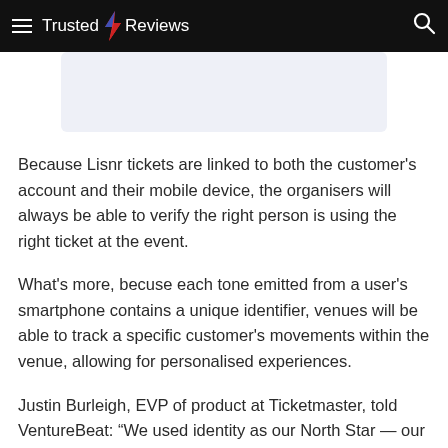Trusted Reviews
[Figure (other): Advertisement banner placeholder, light blue-grey rounded rectangle]
Because Lisnr tickets are linked to both the customer's account and their mobile device, the organisers will always be able to verify the right person is using the right ticket at the event.
What's more, becuse each tone emitted from a user's smartphone contains a unique identifier, venues will be able to track a specific customer's movements within the venue, allowing for personalised experiences.
Justin Burleigh, EVP of product at Ticketmaster, told VentureBeat: “We used identity as our North Star — our guiding light to develop a product that makes each individual fan experience the greatest it could be.